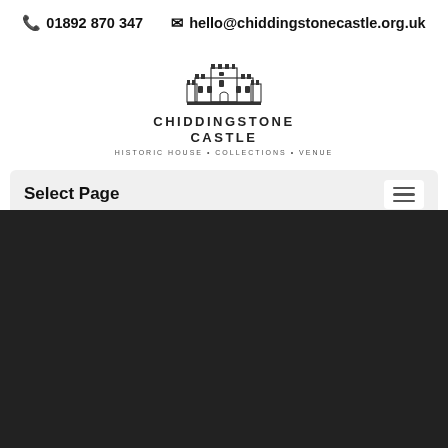📞 01892 870 347   ✉ hello@chiddingstonecastle.org.uk
[Figure (logo): Chiddingstone Castle logo — illustration of a castle building above the text CHIDDINGSTONE CASTLE and tagline HISTORIC HOUSE • COLLECTIONS • VENUE]
Select Page